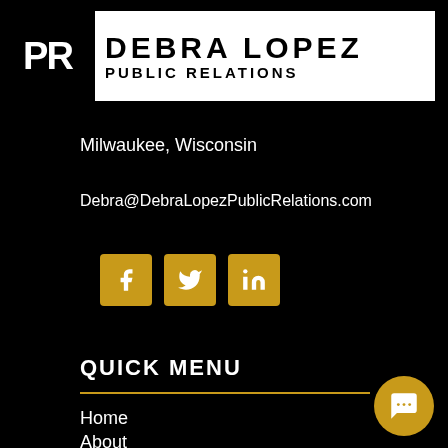[Figure (logo): Debra Lopez Public Relations logo with PR initials on black background and company name in white box]
Milwaukee, Wisconsin
Debra@DebraLopezPublicRelations.com
[Figure (infographic): Three golden social media icon buttons: Facebook (f), Twitter (bird), LinkedIn (in)]
QUICK MENU
Home
About